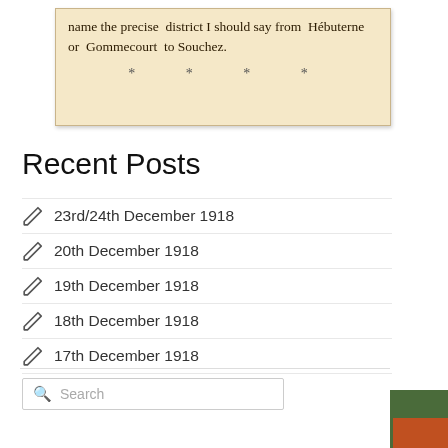[Figure (photo): Scanned newspaper clipping with text: 'name the precise district I should say from Hébuterne or Gommecourt to Souchez.' followed by a row of dots/asterisks.]
Recent Posts
23rd/24th December 1918
20th December 1918
19th December 1918
18th December 1918
17th December 1918